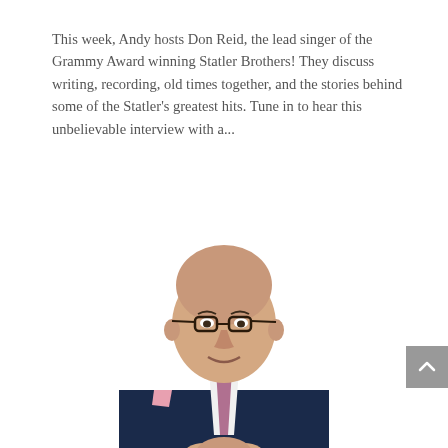This week, Andy hosts Don Reid, the lead singer of the Grammy Award winning Statler Brothers! They discuss writing, recording, old times together, and the stories behind some of the Statler's greatest hits. Tune in to hear this unbelievable interview with a...
[Figure (photo): A bald older man wearing glasses, a navy blue suit, pink/mauve tie, and pink pocket square, smiling with hands clasped in front of him against a white background.]